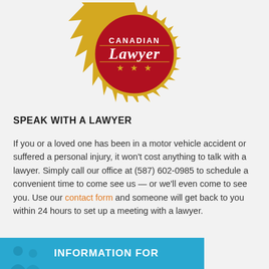[Figure (logo): Canadian Lawyer award badge — gold sunburst medallion with red center, white text 'CANADIAN Lawyer' and three gold stars]
SPEAK WITH A LAWYER
If you or a loved one has been in a motor vehicle accident or suffered a personal injury, it won't cost anything to talk with a lawyer. Simply call our office at (587) 602-0985 to schedule a convenient time to come see us — or we'll even come to see you. Use our contact form and someone will get back to you within 24 hours to set up a meeting with a lawyer.
[Figure (illustration): Blue banner at the bottom with white text 'INFORMATION FOR' and figure silhouette icons on the left side]